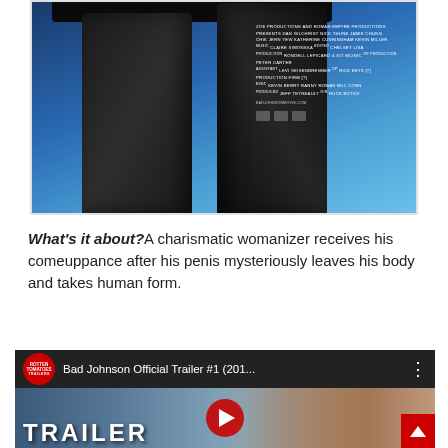[Figure (photo): Movie poster for 'Bad Johnson' showing the lower body of a person wearing black underwear against a blue background, with film credits text on the right side]
What's it about? A charismatic womanizer receives his comeuppance after his penis mysteriously leaves his body and takes human form.
[Figure (screenshot): YouTube video thumbnail for 'Bad Johnson Official Trailer #1 (201...' showing a man's face and a red play button, with 'TRAILER' text at the bottom. A Rotten Tomatoes Trailers logo appears in the top left.]